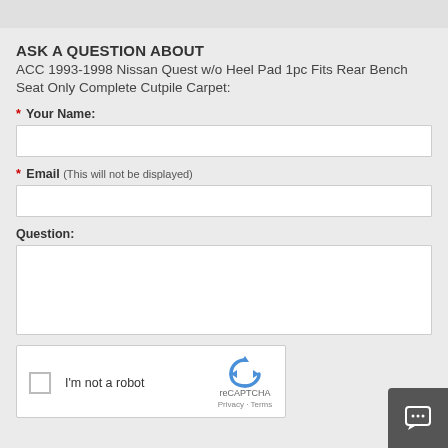ASK A QUESTION ABOUT
ACC 1993-1998 Nissan Quest w/o Heel Pad 1pc Fits Rear Bench Seat Only Complete Cutpile Carpet:
* Your Name:
* Email (This will not be displayed)
Question:
[Figure (other): reCAPTCHA widget with checkbox labeled I'm not a robot, reCAPTCHA logo, Privacy and Terms links]